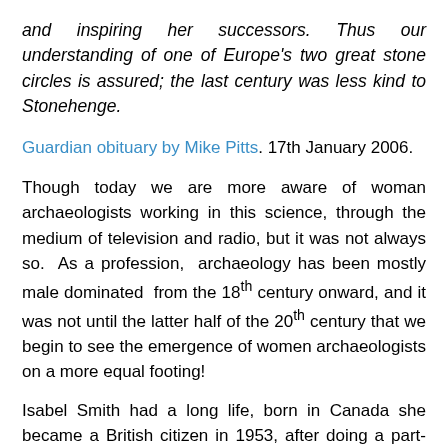and inspiring her successors. Thus our understanding of one of Europe's two great stone circles is assured; the last century was less kind to Stonehenge.
Guardian obituary by Mike Pitts. 17th January 2006.
Though today we are more aware of woman archaeologists working in this science, through the medium of television and radio, but it was not always so.  As a profession,  archaeology has been mostly male dominated  from the 18th century onward, and it was not until the latter half of the 20th century that we begin to see the emergence of women archaeologists on a more equal footing!
Isabel Smith had a long life, born in Canada she became a British citizen in 1953, after doing a part-time diploma